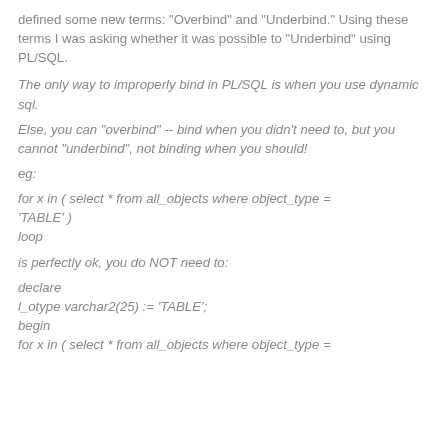defined some new terms: "Overbind" and "Underbind." Using these terms I was asking whether it was possible to "Underbind" using PL/SQL.
The only way to improperly bind in PL/SQL is when you use dynamic sql.
Else, you can "overbind" -- bind when you didn't need to, but you cannot "underbind", not binding when you should!
eg:
for x in ( select * from all_objects where object_type = 'TABLE' )
loop
is perfectly ok, you do NOT need to:
declare
l_otype varchar2(25) := 'TABLE';
begin
for x in ( select * from all_objects where object_type =